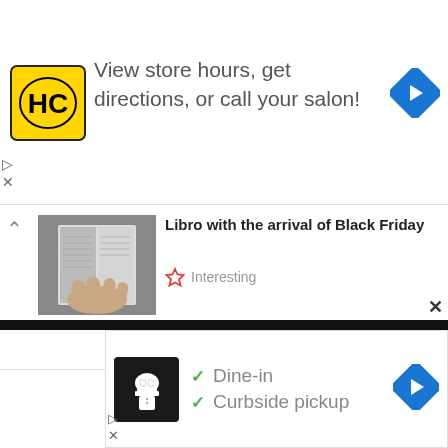[Figure (screenshot): Top advertisement banner with HC logo (yellow square with black HC letters), text 'View store hours, get directions, or call your salon!', and a blue diamond navigation arrow icon on the right. Ad controls (play and X) on the left side.]
[Figure (screenshot): Article thumbnail showing a hand turning pages of a book or magazine, grayscale photo]
Libro with the arrival of Black Friday
Interesting
[Figure (screenshot): Bottom advertisement banner showing a restaurant logo (chef icon on dark background), checkmark list items 'Dine-in' and 'Curbside pickup', and a blue diamond navigation arrow on the right. Ad controls below.]